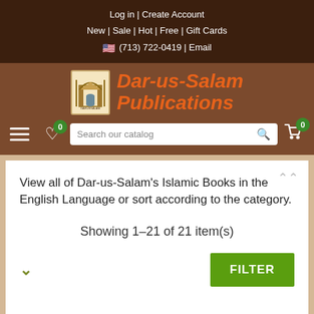Log in | Create Account
New | Sale | Hot | Free | Gift Cards
🇺🇸 (713) 722-0419 | Email
[Figure (logo): Dar-us-Salam Publications logo with mosque/arch illustration]
Dar-us-Salam Publications
View all of Dar-us-Salam's Islamic Books in the English Language or sort according to the category.
Showing 1-21 of 21 item(s)
FILTER